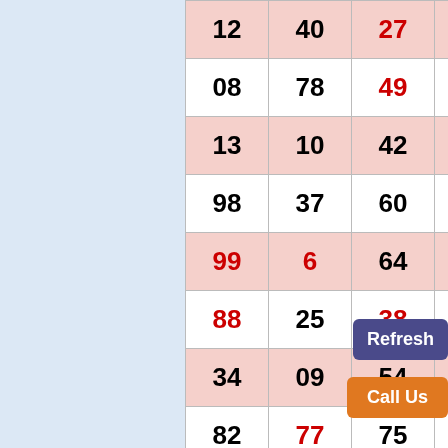| 12 | 40 | 27 | 71 | 58 | 59 | 95 |
| 08 | 78 | 49 | 61 | 11 | 26 | 22 |
| 13 | 10 | 42 | 17 | 2 | 8 | 89 |
| 98 | 37 | 60 | 72 | 12 | 04 | 93 |
| 99 | 6 | 64 | 84 | 00 | 20 | 36 |
| 88 | 25 | 38 | 72 | 48 | 97 | 62 |
| 34 | 09 | 54 | 77 | 77 | 63 | 11 |
| 82 | 77 | 75 | ** | 33 | 07 | 50 |
| 97 | 69 | 92 | 54 | 86 | 76 | 18 |
| 71 | 08 | 32 | 30 | 34 | 54 | 63 |
| 88 | ** | 03 | 99 | 51 | 06 | 64 |
| 72 | 66 | 40 | 45 | 61 | 16 | 12 |
| 50 | 60 | 53 | 10 | 57 | 19 | 86 |
| 08 | 42 | 41 | 57 | 00 | 69 | 47 |
| 60 | 2 | 20 | 0 | 02 | 20 | 16 |